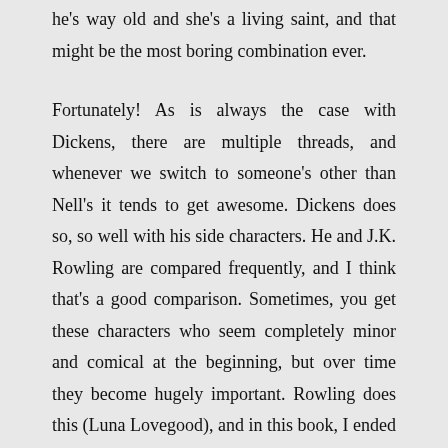he's way old and she's a living saint, and that might be the most boring combination ever.
Fortunately! As is always the case with Dickens, there are multiple threads, and whenever we switch to someone's other than Nell's it tends to get awesome. Dickens does so, so well with his side characters. He and J.K. Rowling are compared frequently, and I think that’s a good comparison. Sometimes, you get these characters who seem completely minor and comical at the beginning, but over time they become hugely important. Rowling does this (Luna Lovegood), and in this book, I ended up loving Richard Swiveller, who starts out as drunk and annoying. He’s just an awesome guy.
Ahh. Not so the crowd. This book is incredibly about...with